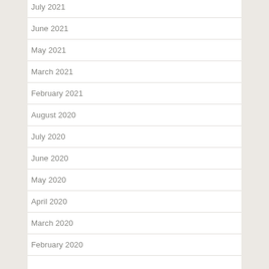July 2021
June 2021
May 2021
March 2021
February 2021
August 2020
July 2020
June 2020
May 2020
April 2020
March 2020
February 2020